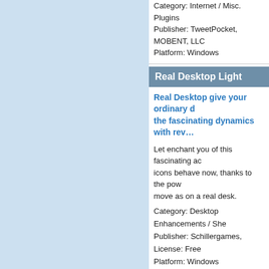Category: Internet / Misc. Plugins
Publisher: TweetPocket, MOBENT, LLC
Platform: Windows
Real Desktop Light
Real Desktop give your ordinary d... the fascinating dynamics with rev...
Let enchant you of this fascinating ac... icons behave now, thanks to the pow... move as on a real desk.
Category: Desktop Enhancements / She...
Publisher: Schillergames, License: Free...
Platform: Windows
Remote Utilities
Remote Utilities is remote desktop... domain network. It is closely integ... installation across multiple PCs as...
Remote Utilities is remote Desktop s... network. It is closely integrated with a... multiple PCs as well as AD authentic... full control over the remote PC to the...
Category: Internet / Remote Access